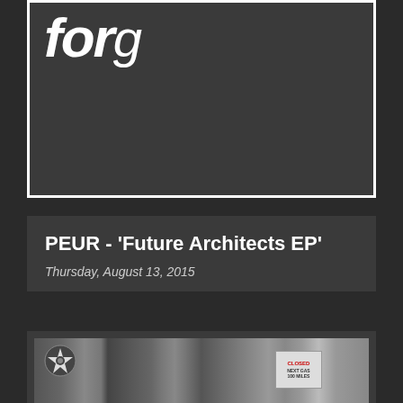[Figure (photo): Partial view of dark image with large italic bold white text showing 'for' or similar text on dark background, framed with white border]
PEUR - 'Future Architects EP'
Thursday, August 13, 2015
[Figure (photo): Black and white photograph of a storefront/garage with a Texaco/motor oil star logo on the left side and a 'CLOSED NEXT GAS 100 MILES' sign on the right door]